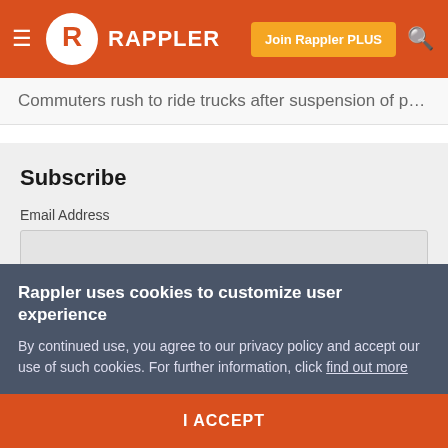RAPPLER | Join Rappler PLUS
Commuters rush to ride trucks after suspension of p…
Subscribe
Email Address
Newsletters
Rappler uses cookies to customize user experience
By continued use, you agree to our privacy policy and accept our use of such cookies. For further information, click find out more
I ACCEPT